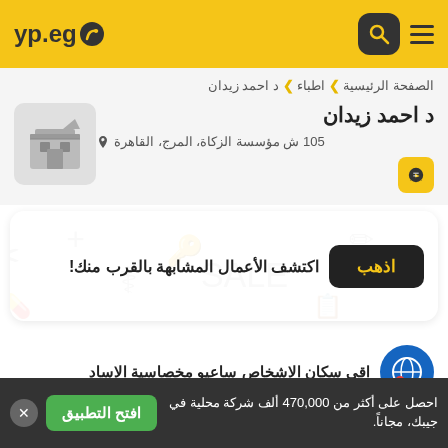yp.eg
الصفحة الرئيسية ❯ اطباء ❯ د احمد زيدان
د احمد زيدان
105 ش مؤسسة الزكاة، المرج، القاهرة
اكتشف الأعمال المشابهة بالقرب منك!
احصل على أكثر من 470,000 ألف شركة محلية في جيبك، مجاناً.